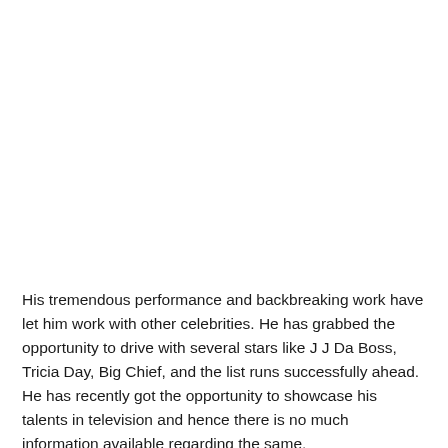His tremendous performance and backbreaking work have let him work with other celebrities. He has grabbed the opportunity to drive with several stars like J J Da Boss, Tricia Day, Big Chief, and the list runs successfully ahead. He has recently got the opportunity to showcase his talents in television and hence there is no much information available regarding the same.